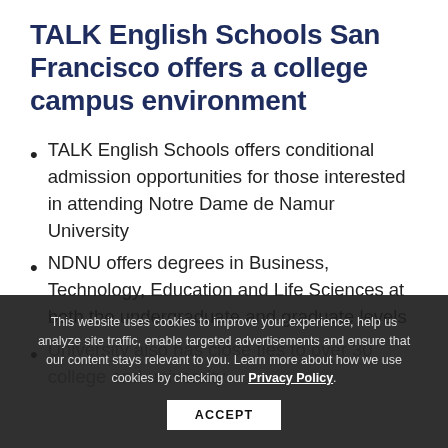TALK English Schools San Francisco offers a college campus environment
TALK English Schools offers conditional admission opportunities for those interested in attending Notre Dame de Namur University
NDNU offers degrees in Business, Technology, Education and Life Sciences at both the undergraduate and graduate levels
University also has close ties to over 30 college and university...
This website uses cookies to improve your experience, help us analyze site traffic, enable targeted advertisements and ensure that our content stays relevant to you. Learn more about how we use cookies by checking our Privacy Policy.